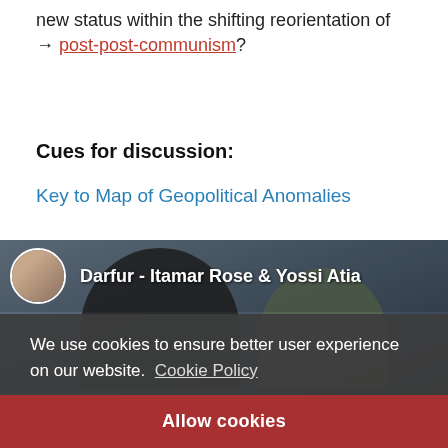new status within the shifting reorientation of → post-post-communism?
Cues for discussion:
Key to Map of Geopolitical Anomalies
[Figure (screenshot): Video thumbnail showing two people with overlay text 'Darfur - Itamar Rose & Yossi Atia' and a circular avatar, with rotated text 'internationale' on the right side.]
We use cookies to ensure better user experience on our website. Cookie Policy
Allow cookies